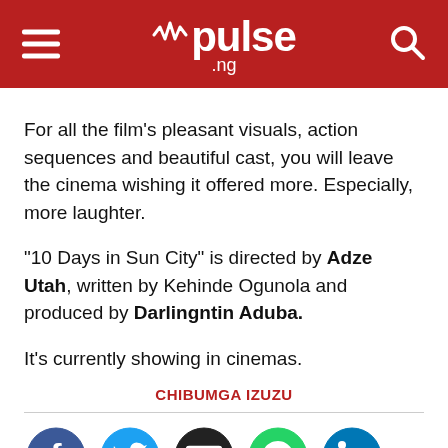pulse.ng
For all the film's pleasant visuals, action sequences and beautiful cast, you will leave the cinema wishing it offered more. Especially, more laughter.
"10 Days in Sun City" is directed by Adze Utah, written by Kehinde Ogunola and produced by Darlingntin Aduba.
It's currently showing in cinemas.
CHIBUMGA IZUZU
[Figure (other): Social media share icons: Facebook, Twitter, Email, WhatsApp, LinkedIn]